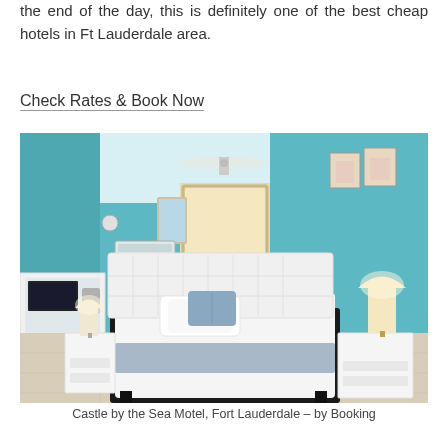the end of the day, this is definitely one of the best cheap hotels in Ft Lauderdale area.
Check Rates & Book Now
[Figure (photo): Hotel room interior with teal/turquoise walls, white upholstered bed with blue accent pillow, white nightstands with lamps, ceiling fan, wall-mounted AC unit, dresser with TV on left, mirror and doorway in background, beige tile floor.]
Castle by the Sea Motel, Fort Lauderdale – by Booking